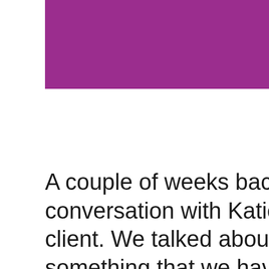[Figure (other): Purple/magenta banner image with 'Read it here>>' link text in white at bottom right]
A couple of weeks back, I had a conversation with Katie, a long-time client. We talked about boundaries, something that we have talked about over the years. She had, again, agreed to take on the program chair position at her local art guild. The guild was in a real bind since the current chair was having surgery with a long rehab period, and they really needed her, she said. That was on top of Katie's picking up the slack for one of the moms with snacks at the kids' soccer games. And, she also lamented a call the day before from